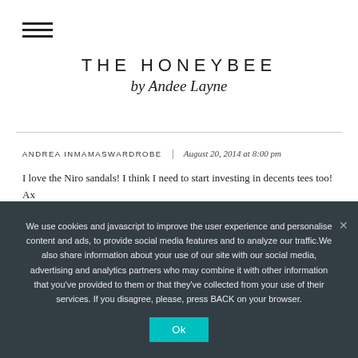THE HONEYBEE by Andee Layne
ANDREA INMAMASWARDROBE | August 20, 2014 at 8:00 pm
I love the Niro sandals! I think I need to start investing in decents tees too! Ax
REPLY
We use cookies and javascript to improve the user experience and personalise content and ads, to provide social media features and to analyze our traffic.We also share information about your use of our site with our social media, advertising and analytics partners who may combine it with other information that you've provided to them or that they've collected from your use of their services. If you disagree, please, press BACK on your browser.